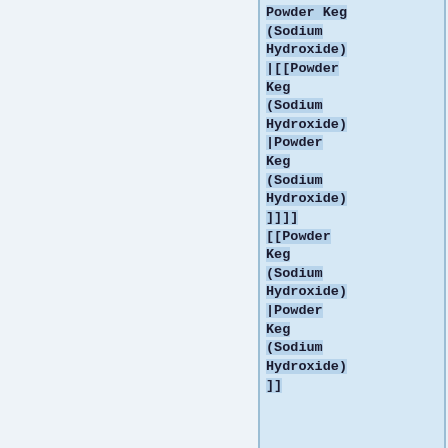Powder Keg (Sodium Hydroxide)|[[Powder Keg (Sodium Hydroxide)|Powder Keg (Sodium Hydroxide)]]]][[Powder Keg (Sodium Hydroxide)|Powder Keg (Sodium Hydroxide)]]